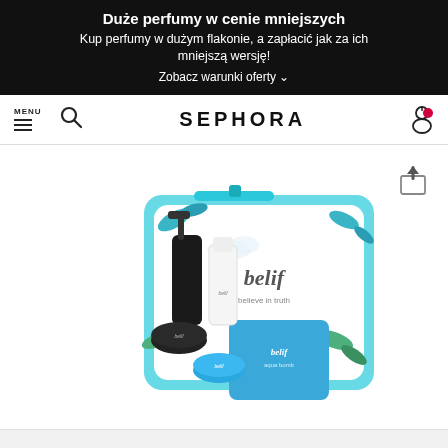Duże perfumy w cenie mniejszych
Kup perfumy w dużym flakonie, a zapłacić jak za ich mniejszą wersję!
Zobacz warunki oferty
[Figure (screenshot): Sephora navigation bar with MENU, hamburger icon, search icon, SEPHORA logo, and cart icon with red badge]
[Figure (photo): Belif skincare product set in a turquoise/blue transparent pouch with tropical leaf pattern, containing multiple Belif branded products including a pump bottle, jar, and blue packaging]